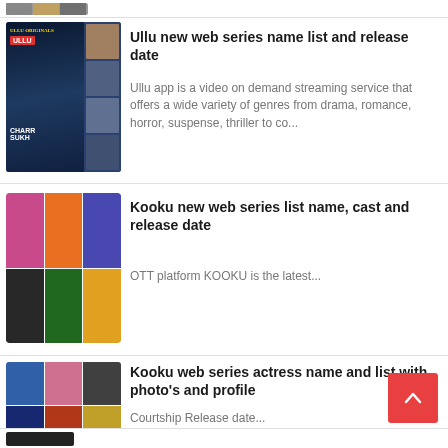[Figure (photo): Thumbnail strip at top with small images]
Ullu new web series name list and release date
[Figure (photo): Ullu web series collage thumbnail]
Ullu app is a video on demand streaming service that offers a wide variety of genres from drama, romance, horror, suspense, thriller to co...
Kooku new web series list name, cast and release date
[Figure (photo): Kooku web series collage thumbnail grid]
OTT platform KOOKU is the latest...
Kooku web series actress name and list with photo's and profile
[Figure (photo): Kooku actress photo grid]
Courtship Release date...
[Figure (photo): Bottom thumbnail strip, partial view]